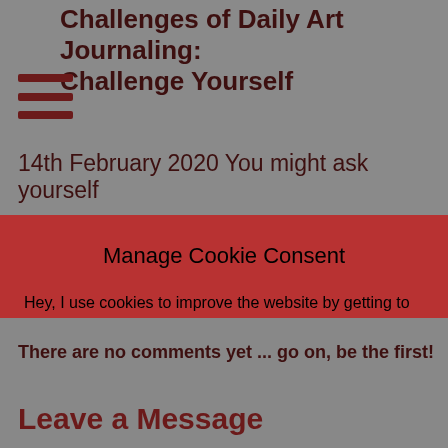Challenges of Daily Art Journaling: Challenge Yourself
14th February 2020 You might ask yourself
Manage Cookie Consent
Hey, I use cookies to improve the website by getting to know you. Please consider accepting all. Hugs, Ceri xx
Accept cookies
View preferences
Cookie policy
Privacy
There are no comments yet ... go on, be the first!
Leave a Message